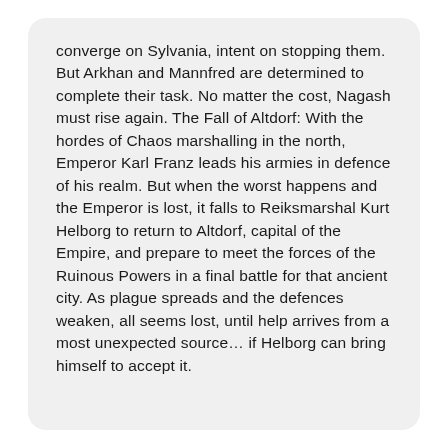converge on Sylvania, intent on stopping them. But Arkhan and Mannfred are determined to complete their task. No matter the cost, Nagash must rise again. The Fall of Altdorf: With the hordes of Chaos marshalling in the north, Emperor Karl Franz leads his armies in defence of his realm. But when the worst happens and the Emperor is lost, it falls to Reiksmarshal Kurt Helborg to return to Altdorf, capital of the Empire, and prepare to meet the forces of the Ruinous Powers in a final battle for that ancient city. As plague spreads and the defences weaken, all seems lost, until help arrives from a most unexpected source... if Helborg can bring himself to accept it.